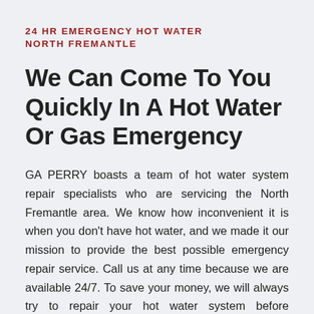24 HR EMERGENCY HOT WATER NORTH FREMANTLE
We Can Come To You Quickly In A Hot Water Or Gas Emergency
GA PERRY boasts a team of hot water system repair specialists who are servicing the North Fremantle area. We know how inconvenient it is when you don't have hot water, and we made it our mission to provide the best possible emergency repair service. Call us at any time because we are available 24/7. To save your money, we will always try to repair your hot water system before considering replacing it. If you do